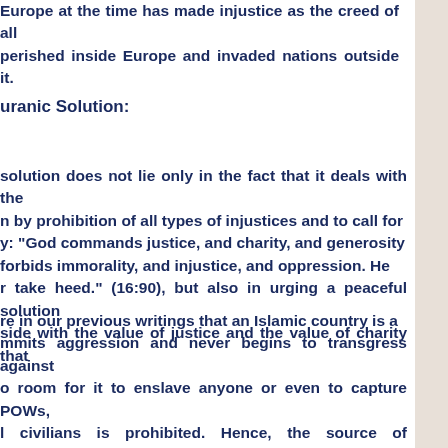Europe at the time has made injustice as the creed of all perished inside Europe and invaded nations outside it.
uranic Solution:
solution does not lie only in the fact that it deals with the n by prohibition of all types of injustices and to call for y: "God commands justice, and charity, and generosity forbids immorality, and injustice, and oppression. He r take heed." (16:90), but also in urging a peaceful solution side with the value of justice and the value of charity that
re in our previous writings that an Islamic country is a mmits aggression and never begins to transgress against o room for it to enslave anyone or even to capture POWs, l civilians is prohibited. Hence, the source of enslavement country. Moreover, freeing slaves coming from outside a o it by buying them is available as an Islamic duty by the